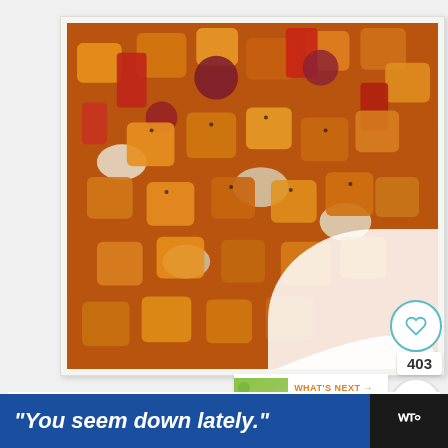[Figure (photo): Roasted vegetables including butternut squash, red peppers, onions, and beets in a white baking dish on a wooden surface]
403
WHAT'S NEXT → Easy Cheese And Onion P...
Once chilled it's time to start your pie.
"You seem down lately."